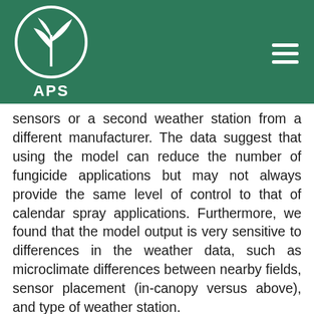APS
sensors or a second weather station from a different manufacturer. The data suggest that using the model can reduce the number of fungicide applications but may not always provide the same level of control to that of calendar spray applications. Furthermore, we found that the model output is very sensitive to differences in the weather data, such as microclimate differences between nearby fields, sensor placement (in-canopy versus above), and type of weather station.
Screening different Brassica spp. germplasm for resistance to Rhizoctonia solani AG-2-1 and AG-8
E. Babiker (1), S. Hulbert (1), T. Paulitz (2)
(1) Dept. of Plant Pathology, Washington State University, Pullman, WA; (2) USDA ARS, Washington